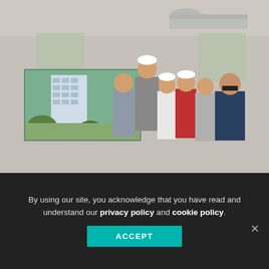[Figure (photo): Group of six people standing inside a construction site with concrete block walls and exposed pipes overhead. Behind them is a banner showing an architectural rendering of a modern multi-story residential building. Three people in the center are wearing white hard hats.]
By using our site, you acknowledge that you have read and understand our privacy policy and cookie policy.
ACCEPT